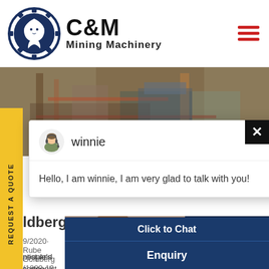[Figure (logo): C&M Mining Machinery logo with eagle in gear circle, navy blue, with hamburger menu icon in red]
[Figure (photo): Industrial/mining facility interior photo showing rusty equipment and structures]
winnie
Hello, I am winnie, I am very glad to talk with you!
ldberg Machine: 10
9/2020· Rube Goldberg (1883-19
ntist and cartoonist who produ
people's overly complex proble
methods. In his comical cartoons, h
chain reactions with simple machin
basic tasks, like turning on a lamp a
[Figure (photo): Customer service representative woman with headset smiling]
Click to Chat
Enquiry